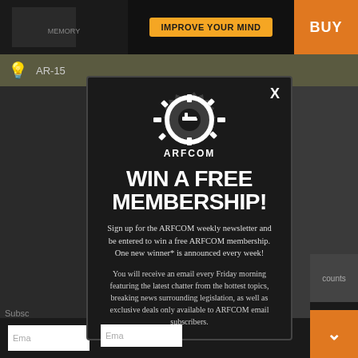[Figure (screenshot): Top advertising banner area with dark background, orange BUY button on right, and 'IMPROVE YOUR MIND' yellow button in center]
[Figure (screenshot): ARFCOM gear/cog logo in white]
WIN A FREE MEMBERSHIP!
Sign up for the ARFCOM weekly newsletter and be entered to win a free ARFCOM membership. One new winner* is announced every week!
You will receive an email every Friday morning featuring the latest chatter from the hottest topics, breaking news surrounding legislation, as well as exclusive deals only available to ARFCOM email subscribers.